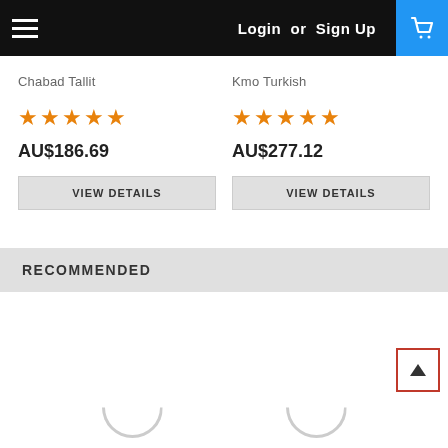Login or Sign Up
Chabad Tallit
★★★★★
AU$186.69
VIEW DETAILS
Kmo Turkish
★★★★★
AU$277.12
VIEW DETAILS
RECOMMENDED